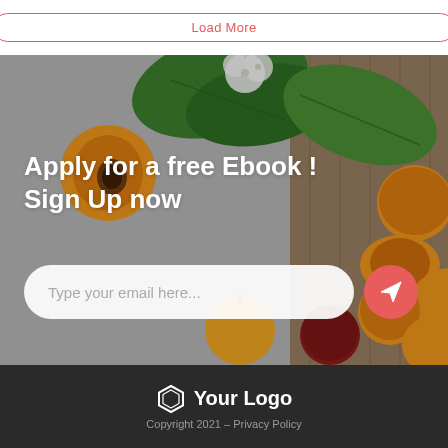Load More
[Figure (photo): A flat-lay photograph of apricots/peaches and green leaves on a gray and wooden surface, used as a hero section background]
Apply for a free Ebook ! Sign Up now
Type your email here...
Your Logo
Copyright 2021 – Privacy Policy